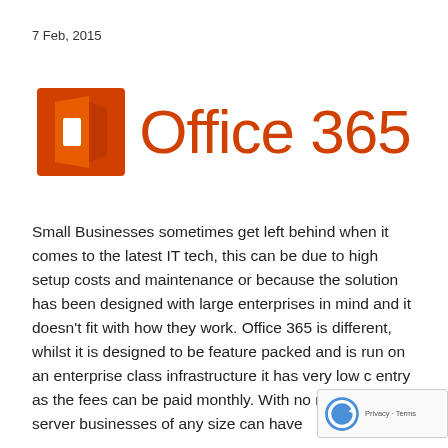7 Feb, 2015
[Figure (logo): Microsoft Office 365 logo — orange square with cutout door/window icon on left, text 'Office 365' in orange on right]
Small Businesses sometimes get left behind when it comes to the latest IT tech, this can be due to high setup costs and maintenance or because the solution has been designed with large enterprises in mind and it doesn't fit with how they work. Office 365 is different, whilst it is designed to be feature packed and is run on an enterprise class infrastructure it has very low c entry as the fees can be paid monthly. With no ne an on-site server businesses of any size can have an on-site server businesses of any size can have